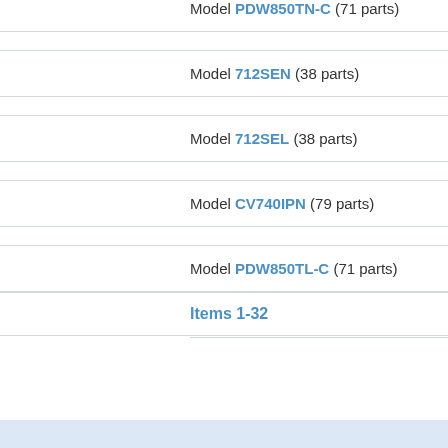Model PDW850TN-C (71 parts)
Model 712SEN (38 parts)
Model 712SEL (38 parts)
Model CV740IPN (79 parts)
Model PDW850TL-C (71 parts)
Items 1-32